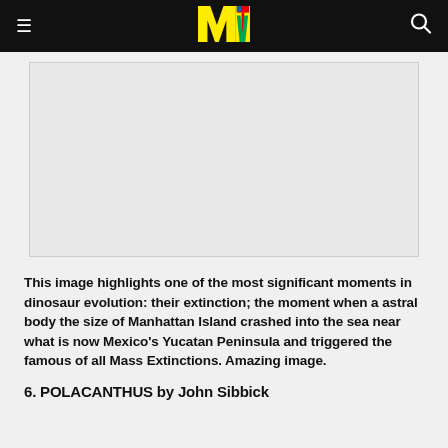MTV logo with hamburger menu and search icon
[Figure (other): Advertisement or image placeholder box]
This image highlights one of the most significant moments in dinosaur evolution: their extinction; the moment when a astral body the size of Manhattan Island crashed into the sea near what is now Mexico's Yucatan Peninsula and triggered the famous of all Mass Extinctions. Amazing image.
6. POLACANTHUS by John Sibbick